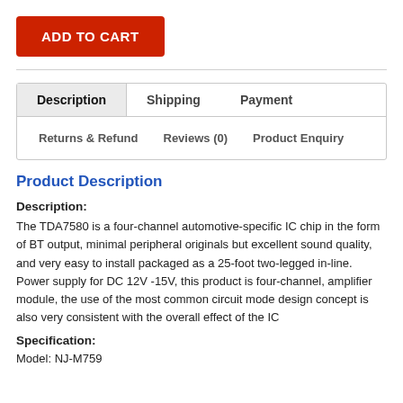ADD TO CART
Description | Shipping | Payment | Returns & Refund | Reviews (0) | Product Enquiry
Product Description
Description:
The TDA7580 is a four-channel automotive-specific IC chip in the form of BT output, minimal peripheral originals but excellent sound quality, and very easy to install packaged as a 25-foot two-legged in-line. Power supply for DC 12V -15V, this product is four-channel, amplifier module, the use of the most common circuit mode design concept is also very consistent with the overall effect of the IC
Specification:
Model: NJ-M759